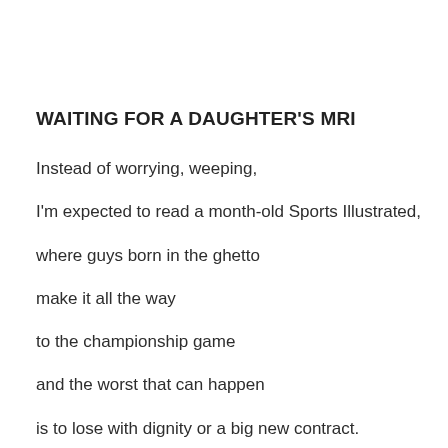WAITING FOR A DAUGHTER'S MRI
Instead of worrying, weeping,
I'm expected to read a month-old Sports Illustrated,
where guys born in the ghetto
make it all the way
to the championship game
and the worst that can happen
is to lose with dignity or a big new contract.